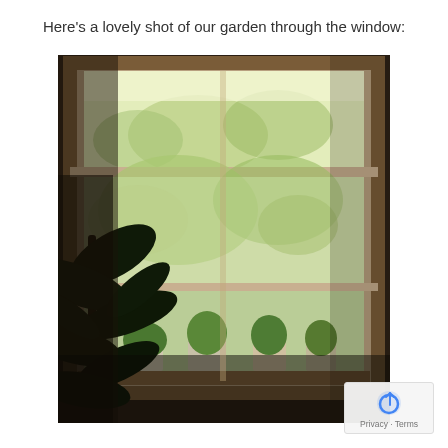Here's a lovely shot of our garden through the window:
[Figure (photo): Indoor photograph showing a large leafy houseplant in silhouette on the left side, in front of a multi-pane window. Through the window, a lush outdoor garden with trees is visible. On the windowsill are several potted plants. The scene is dimly lit inside with bright natural light coming through the window.]
Privacy · Terms